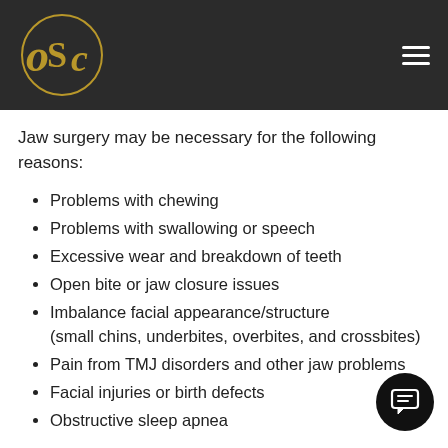OSC
Jaw surgery may be necessary for the following reasons:
Problems with chewing
Problems with swallowing or speech
Excessive wear and breakdown of teeth
Open bite or jaw closure issues
Imbalance facial appearance/structure (small chins, underbites, overbites, and crossbites)
Pain from TMJ disorders and other jaw problems
Facial injuries or birth defects
Obstructive sleep apnea